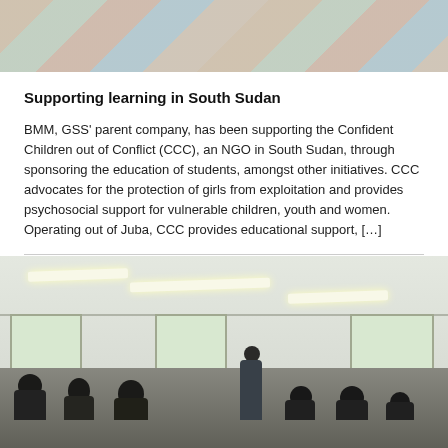[Figure (photo): Top decorative photo showing striped textile or fabric pattern in muted colors — beige, gray-green, rose, teal stripes at diagonal angle]
Supporting learning in South Sudan
BMM, GSS' parent company, has been supporting the Confident Children out of Conflict (CCC), an NGO in South Sudan, through sponsoring the education of students, amongst other initiatives. CCC advocates for the protection of girls from exploitation and provides psychosocial support for vulnerable children, youth and women. Operating out of Juba, CCC provides educational support, […]
MORE
[Figure (photo): Photograph of a bright classroom interior in South Sudan. Fluorescent lights on ceiling. Students seated at desks viewed from behind as silhouettes. A teacher stands at the front. Windows on both side walls let in natural light. Walls are light-colored.]